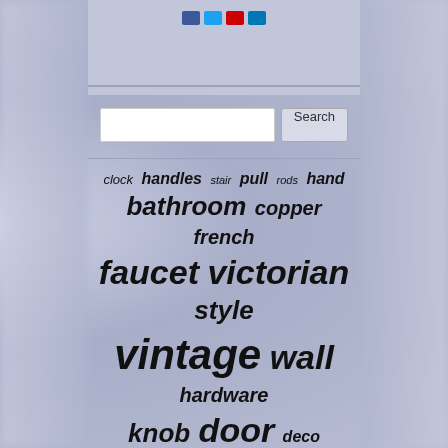[Figure (screenshot): Website header with social media icons (Facebook, Twitter, YouTube, LinkedIn) and a search bar with 'Search' button]
[Figure (infographic): Tag cloud with antique/vintage hardware related terms sized by frequency: antique, shower, vintage, wall, faucet, victorian, style, bathroom, door, knob, lock, bronze, mixer, handle, solid, head, rainfall, hardware, french, copper, knobs, glass, plates, mortise, deco, rods, hand, stair, pull, handles, clock]